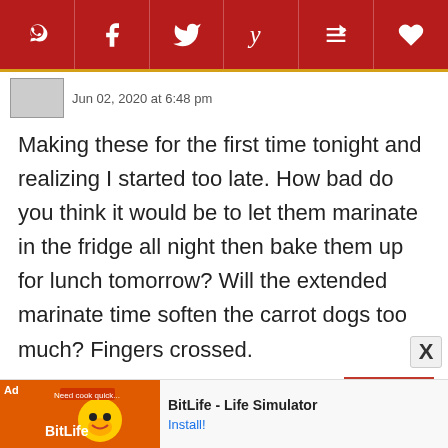[Figure (other): Social sharing toolbar with Pinterest, Facebook, Twitter, Yummly, Flipboard, and heart/save icons on a dark red background]
Jun 02, 2020 at 6:48 pm
Making these for the first time tonight and realizing I started too late. How bad do you think it would be to let them marinate in the fridge all night then bake them up for lunch tomorrow? Will the extended marinate time soften the carrot dogs too much? Fingers crossed.
0 REPLY
Beth Price
Jun 03, 2020 at 8:38 am
[Figure (other): Ad banner for BitLife - Life Simulator with Install button]